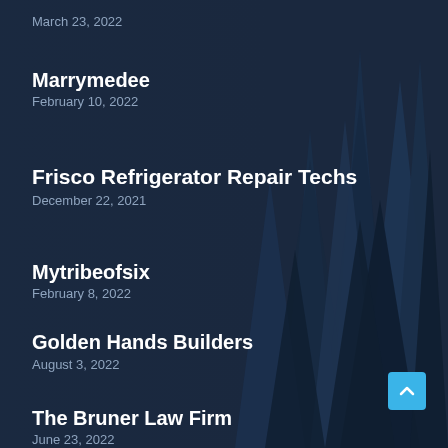March 23, 2022
Marrymedee
February 10, 2022
Frisco Refrigerator Repair Techs
December 22, 2021
Mytribeofsix
February 8, 2022
Golden Hands Builders
August 3, 2022
The Bruner Law Firm
June 23, 2022